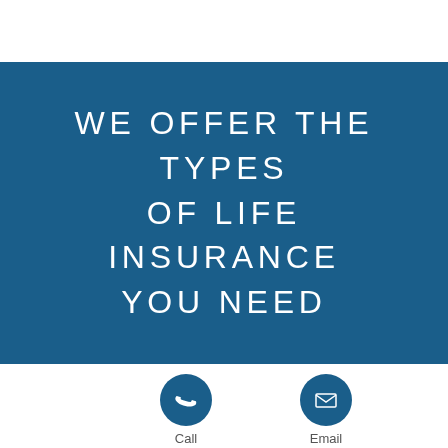WE OFFER THE TYPES OF LIFE INSURANCE YOU NEED
[Figure (infographic): Blue circle icon with white telephone/call symbol]
Call
[Figure (infographic): Blue circle icon with white envelope/email symbol]
Email